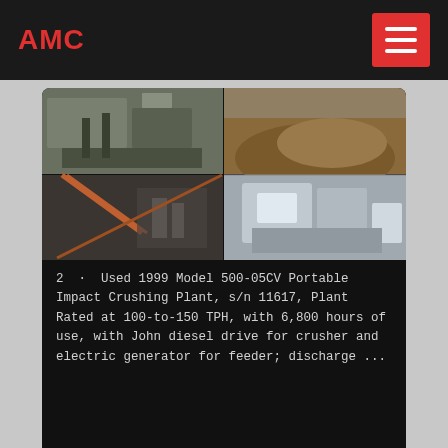AMC
[Figure (photo): Four-panel photo grid showing mining/crushing plant equipment and rock piles at quarry sites]
2 · Used 1999 Model 500-05CV Portable Impact Crushing Plant, s/n 11617, Plant Rated at 100-to-150 TPH, with 6,800 hours of use, with John diesel drive for crusher and electric generator for feeder; discharge ...
Jaw Crusher | Crushing Plant | Hard Rock Mining ...